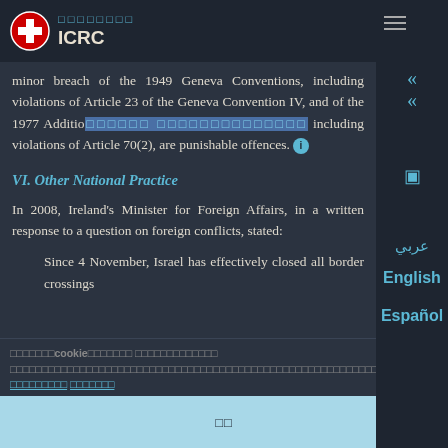ICRC
minor breach of the 1949 Geneva Conventions, including violations of Article 23 of the Geneva Convention IV, and of the 1977 Additional Protocols, including violations of Article 70(2), are punishable offences.
VI. Other National Practice
In 2008, Ireland's Minister for Foreign Affairs, in a written response to a question on foreign conflicts, stated:
Since 4 November, Israel has effectively closed all border crossings
Cookie notice text with cookie settings and privacy notice links. Accept button.